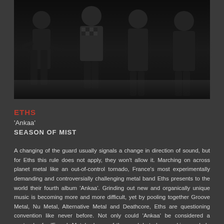[Figure (photo): Black and white band photo of Eths, showing four members posed against a dark background]
ETHS
'Ankaa'
SEASON OF MIST
A changing of the guard usually signals a change in direction of sound, but for Eths this rule does not apply, they won't allow it. Marching on across planet metal like an out-of-control tornado, France's most experimentally demanding and controversially challenging metal band Eths presents to the world their fourth album 'Ankaa'. Grinding out new and organically unique music is becoming more and more difficult, yet by pooling together Groove Metal, Nu Metal, Alternative Metal and Deathcore, Eths are questioning convention like never before. Not only could 'Ankaa' be considered a contender for 'French Metal release of the year', but also sparking a whole new wave of metal bands following this